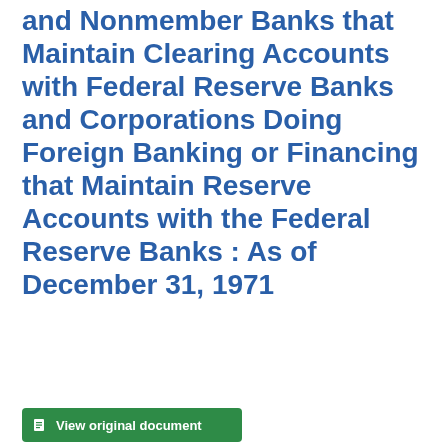and Nonmember Banks that Maintain Clearing Accounts with Federal Reserve Banks and Corporations Doing Foreign Banking or Financing that Maintain Reserve Accounts with the Federal Reserve Banks : As of December 31, 1971